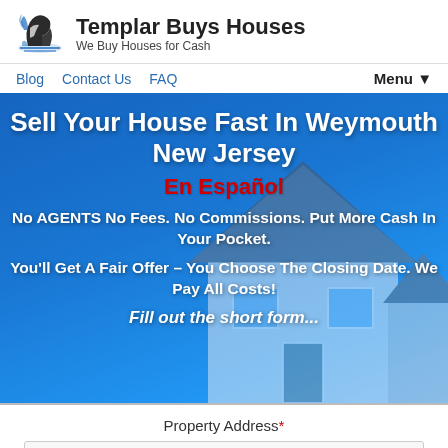Templar Buys Houses – We Buy Houses for Cash
Blog | Contact Us | FAQ | Menu
Sell Your House Fast In Weymouth New Jersey
En Español
No AGENTS No Fees. No Commissions. Put More Cash In Your Pocket.
You'll Get A Fair Offer – You Choose The Closing Date. We Pay All Costs!
Fill out the short form...
Property Address*